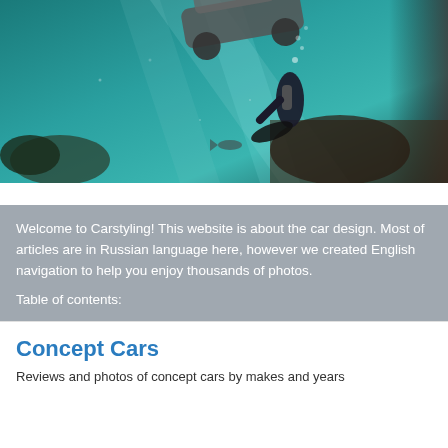[Figure (photo): Underwater photograph of a scuba diver swimming near what appears to be a submerged car, with teal-blue water and coral/dark underwater structures visible]
Welcome to Carstyling! This website is about the car design. Most of articles are in Russian language here, however we created English navigation to help you enjoy thousands of photos.
Table of contents:
Concept Cars
Reviews and photos of concept cars by makes and years